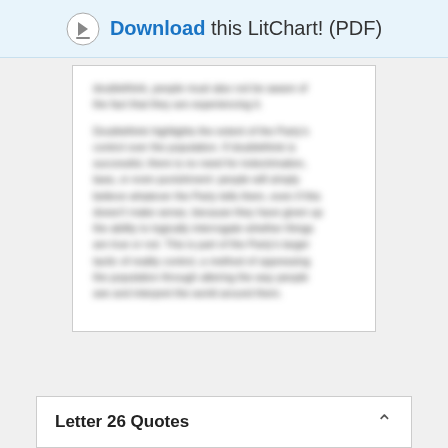Download this LitChart! (PDF)
doublethink, people must also not be aware of the fact that they are experiencing it. Doublethink highlights the extent of the Party's control over the population. If doublethink is successful, there is no need for indoctrination, laws, or even punishment: people will simply believe whatever the Party tells them, even if this doesn't make sense, because they have given up the ability to logically interrogate whether things are true or not. This is part of the Party's larger tactic of reality control, a method of oppressing the population through altering the way people see and interpret the world around them.
Letter 26 Quotes